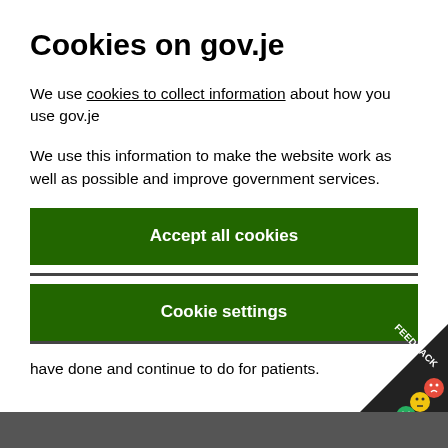Cookies on gov.je
We use cookies to collect information about how you use gov.je
We use this information to make the website work as well as possible and improve government services.
Accept all cookies
Cookie settings
have done and continue to do for patients.